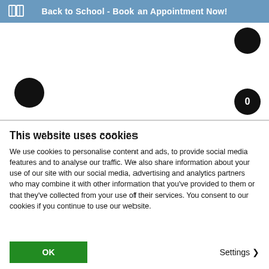Back to School - Book an Appointment Now!
effortlessly combines style with functionality, with grained waterproof leather uppers and a flexible and durable rubber sole. The removable anatomical insole allows for easy drying in case of rainy weather, and a sheepskin lining will keep feet nice and warm, so you're ready for whatever life throws your way.
This website uses cookies
We use cookies to personalise content and ads, to provide social media features and to analyse our traffic. We also share information about your use of our site with our social media, advertising and analytics partners who may combine it with other information that you've provided to them or that they've collected from your use of their services. You consent to our cookies if you continue to use our website.
OK
Settings